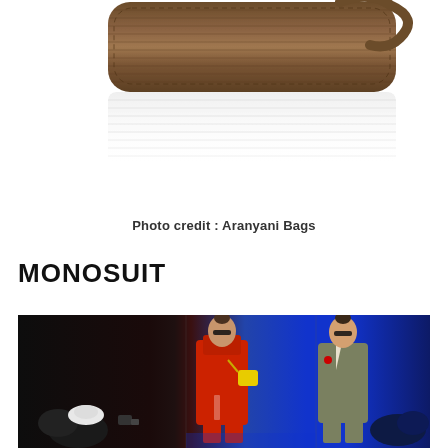[Figure (photo): Close-up photo of a wooden textured bag or accessory with a reflective surface below it, on a white background]
Photo credit : Aranyani Bags
MONOSUIT
[Figure (photo): Fashion runway photo showing two female models wearing sporty monosuits — one in red with a yellow crossbody bag, one in olive/grey — walking a runway with audience visible in the foreground and a blue backdrop]